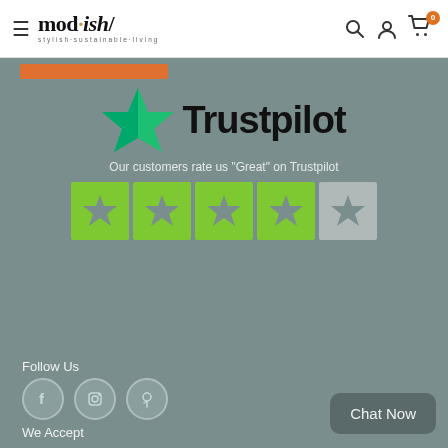[Figure (logo): mod.ish/ logo with tagline 'stylish·sustainable·living' in navbar]
[Figure (screenshot): Trustpilot logo with green star, text 'Trustpilot', tagline 'Our customers rate us Great on Trustpilot', 4 green star boxes and 1 gray star box rating display]
Follow Us
[Figure (illustration): Social media icons: Facebook, Instagram, Pinterest in gray circles]
We Accept
Chat Now